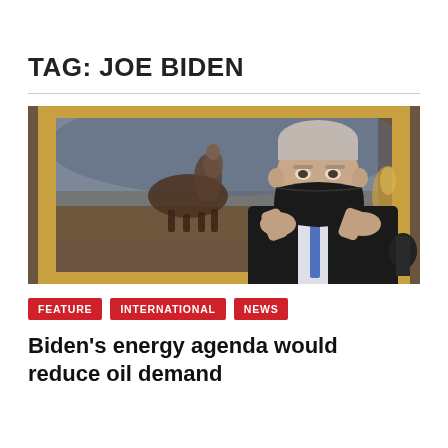TAG: JOE BIDEN
[Figure (photo): President Joe Biden wearing a black face mask, adjusting it with both hands. In the background is a large oil painting in a gold frame depicting a figure on horseback, hanging in what appears to be the White House.]
FEATURE
INTERNATIONAL
NEWS
Biden's energy agenda would reduce oil demand